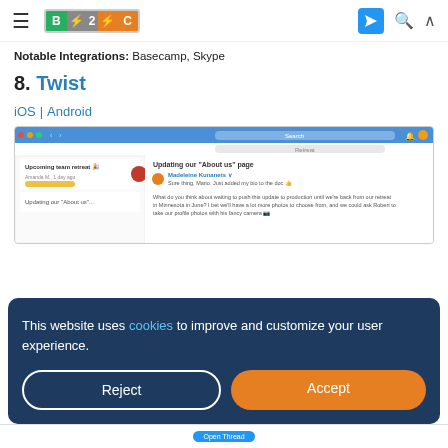B2C logo, hamburger menu, navigation icons
Notable Integrations: Basecamp, Skype
8. Twist
iOS | Android
[Figure (screenshot): Screenshot of Twist app interface showing team thread about 'Upcoming team retreat' and 'Updating our About us page']
This website uses cookies to improve and customize your user experience.
Reject   Accept